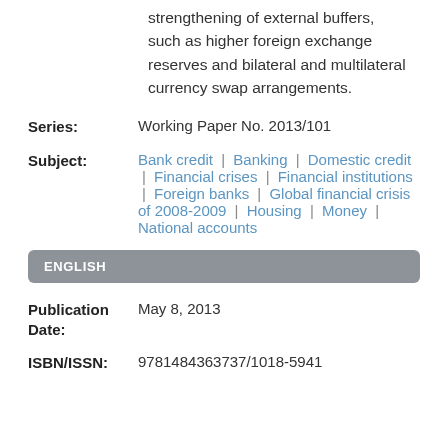strengthening of external buffers, such as higher foreign exchange reserves and bilateral and multilateral currency swap arrangements.
Series: Working Paper No. 2013/101
Subject: Bank credit | Banking | Domestic credit | Financial crises | Financial institutions | Foreign banks | Global financial crisis of 2008-2009 | Housing | Money | National accounts
ENGLISH
Publication Date: May 8, 2013
ISBN/ISSN: 9781484363737/1018-5941